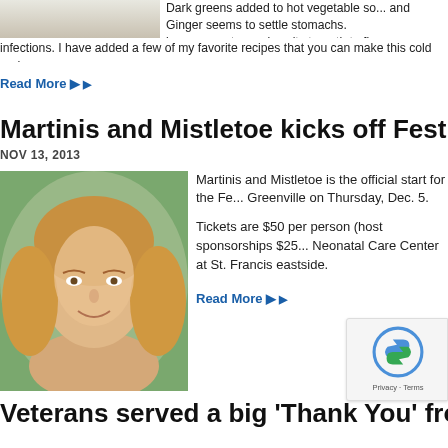[Figure (photo): Photo of food/soup dish on a plate, partially visible at top left]
Dark greens added to hot vegetable so... and Ginger seems to settle stomachs. immune systems gives it strength to fi... infections. I have added a few of my favorite recipes that you can make this cold and
Read More ▶
Martinis and Mistletoe kicks off Festival of th
NOV 13, 2013
[Figure (photo): Portrait photo of a smiling woman with blonde hair]
Martinis and Mistletoe is the official start for the Fe... Greenville on Thursday, Dec. 5.
Tickets are $50 per person (host sponsorships $25... Neonatal Care Center at St. Francis eastside.
Read More ▶
Veterans served a big 'Thank You' from retu...